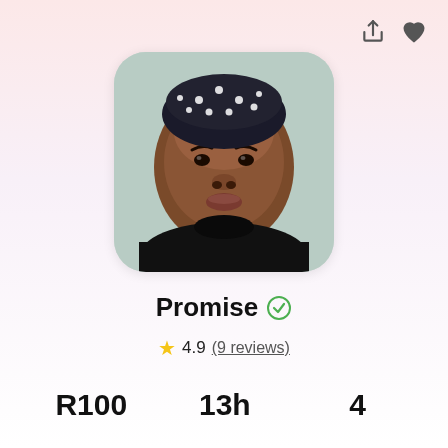[Figure (photo): Profile photo of a young woman wearing a black turtleneck and a polka-dot headwrap, selfie-style photo with rounded corners]
Promise ✓
★ 4.9 (9 reviews)
R100   13h   4